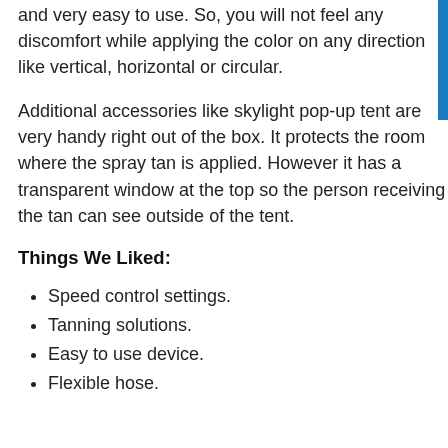and very easy to use. So, you will not feel any discomfort while applying the color on any direction like vertical, horizontal or circular.
Additional accessories like skylight pop-up tent are very handy right out of the box. It protects the room where the spray tan is applied. However it has a transparent window at the top so the person receiving the tan can see outside of the tent.
Things We Liked:
Speed control settings.
Tanning solutions.
Easy to use device.
Flexible hose.